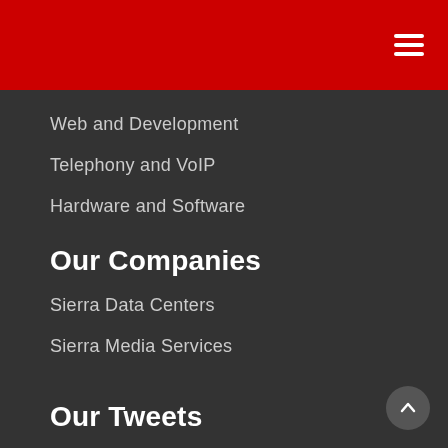Web and Development
Telephony and VoIP
Hardware and Software
Our Companies
Sierra Data Centers
Sierra Media Services
Our Tweets
Thank you Hewlett Packard Enterprise for being a trusted partner!
*
Check out more of our partners and how to become one here: https://www.sierraexperts.com/